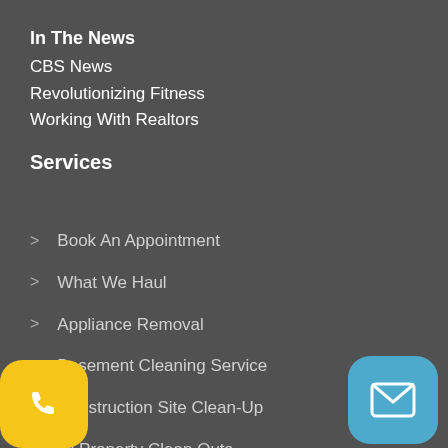In The News
CBS News
Revolutionizing Fitness
Working With Realtors
Services
Book An Appointment
What We Haul
Appliance Removal
Basement Cleaning Service
Construction Site Clean-Up
Full Property Clean Outs
Furniture Removal
[Figure (illustration): Yellow phone button icon at bottom-left]
[Figure (illustration): Blue mail/envelope button icon at bottom-right]